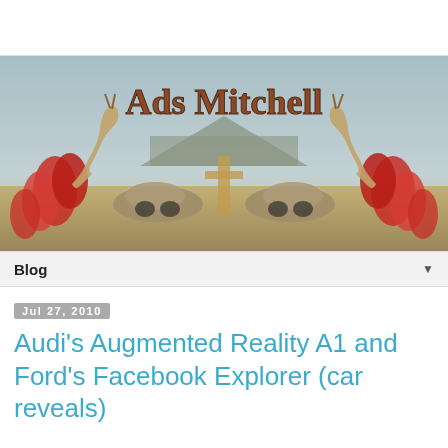[Figure (illustration): Ads Mitchell blog banner image with stylized retro artwork featuring springbok antelopes, old cars, red flowers, and mountain landscape with the text 'Ads Mitchell' in decorative font]
Blog ▼
Jul 27, 2010
Audi's Augmented Reality A1 and Ford's Facebook Explorer (car reveals)